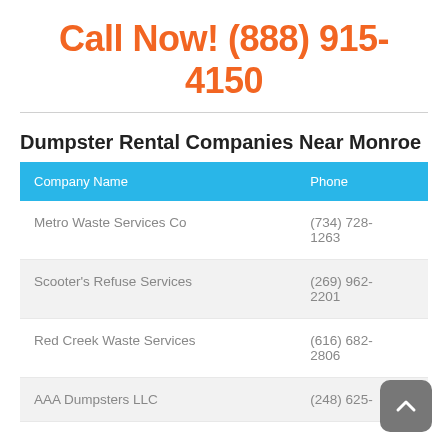Call Now! (888) 915-4150
Dumpster Rental Companies Near Monroe
| Company Name | Phone |
| --- | --- |
| Metro Waste Services Co | (734) 728-1263 |
| Scooter's Refuse Services | (269) 962-2201 |
| Red Creek Waste Services | (616) 682-2806 |
| AAA Dumpsters LLC | (248) 625- |